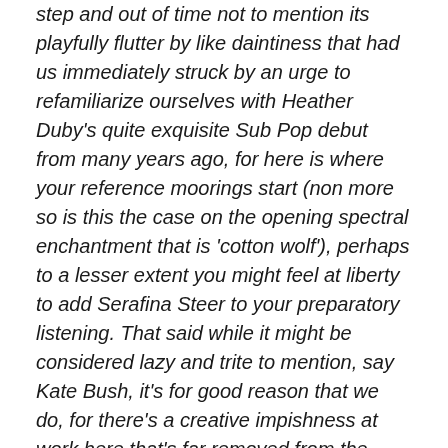step and out of time not to mention its playfully flutter by like daintiness that had us immediately struck by an urge to refamiliarize ourselves with Heather Duby's quite exquisite Sub Pop debut from many years ago, for here is where your reference moorings start (non more so is this the case on the opening spectral enchantment that is 'cotton wolf'), perhaps to a lesser extent you might feel at liberty to add Serafina Steer to your preparatory listening. That said while it might be considered lazy and trite to mention, say Kate Bush, it's for good reason that we do, for there's a creative impishness at work here that's far removed from the usual pop trinket-dom that suggests a hitherto acute teeth cutting fondness for Ms Bush's 'never for ever'. As engaging a listening experience that we've had the pleasure of hearing in such an age, once fixed beneath the entrancing spell of the opening 'cotton wolf',